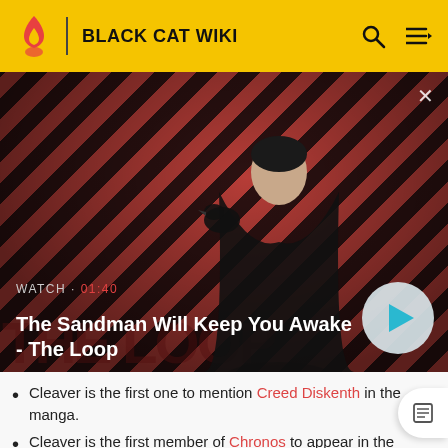BLACK CAT WIKI
[Figure (screenshot): Video thumbnail showing a dark figure (man in black cloak with a raven on shoulder) against a red and dark diagonal striped background. Text overlay: WATCH · 01:40, The Sandman Will Keep You Awake - The Loop. Play button visible at bottom right.]
Cleaver is the first one to mention Creed Diskenth in the manga.
Cleaver is the first member of Chronos to appear in the manga series.
The fact that Cleaver had a pistol made of...